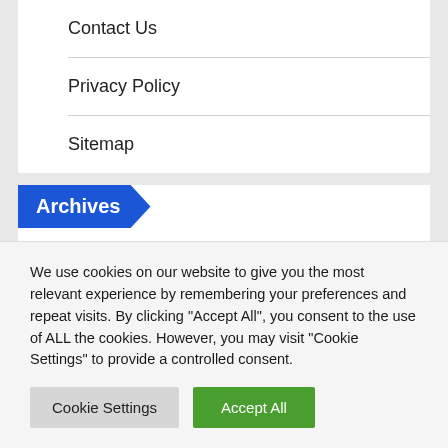Contact Us
Privacy Policy
Sitemap
Archives
August 2022
We use cookies on our website to give you the most relevant experience by remembering your preferences and repeat visits. By clicking "Accept All", you consent to the use of ALL the cookies. However, you may visit "Cookie Settings" to provide a controlled consent.